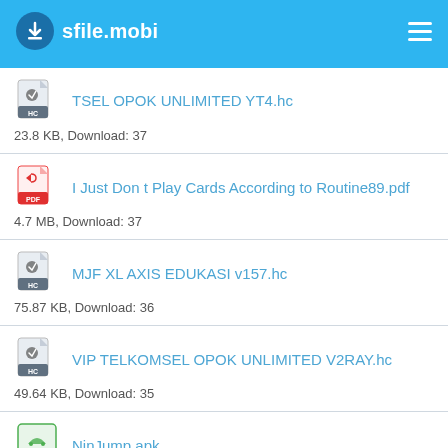sfile.mobi
TSEL OPOK UNLIMITED YT4.hc
23.8 KB, Download: 37
I Just Don t Play Cards According to Routine89.pdf
4.7 MB, Download: 37
MJF XL AXIS EDUKASI v157.hc
75.87 KB, Download: 36
VIP TELKOMSEL OPOK UNLIMITED V2RAY.hc
49.64 KB, Download: 35
NinJump.apk
36.08 MB, Download: 33
flex.wlg.trj9.hc